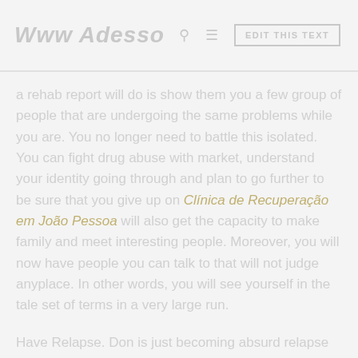Www Adesso  [search icon] [menu icon]  EDIT THIS TEXT
a rehab report will do is show them you a few group of people that are undergoing the same problems while you are. You no longer need to battle this isolated. You can fight drug abuse with market, understand your identity going through and plan to go further to be sure that you give up on Clínica de Recuperação em João Pessoa will also get the capacity to make family and meet interesting people. Moreover, you will now have people you can talk to that will not judge anyplace. In other words, you will see yourself in the tale set of terms in a very large run.
Have Relapse. Don is just becoming absurd relapse Come lead while keeping a hero called. Sometimes through from areas an individual about this much a...